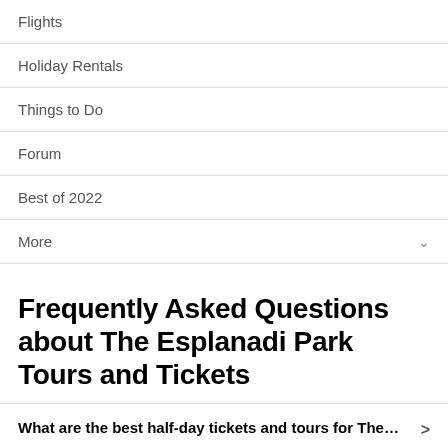Flights
Holiday Rentals
Things to Do
Forum
Best of 2022
More
Frequently Asked Questions about The Esplanadi Park Tours and Tickets
What are the best half-day tickets and tours for The…